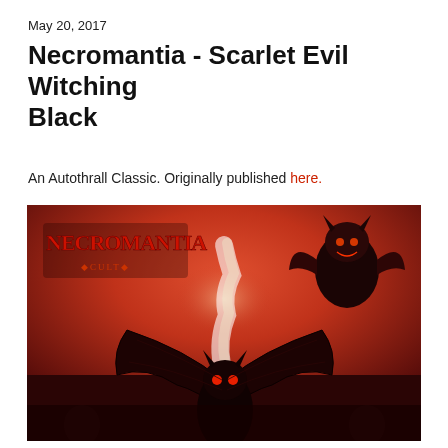May 20, 2017
Necromantia - Scarlet Evil Witching Black
An Autothrall Classic. Originally published here.
[Figure (illustration): Album cover artwork for Necromantia - Scarlet Evil Witching Black. Dark fantasy/metal artwork featuring a large winged demon/bat creature in the center foreground with spread wings, a smaller demon figure at the top right, a ghostly white smoke figure rising from the center, red and dark apocalyptic background. The Necromantia band logo in stylized red gothic lettering is in the upper left.]